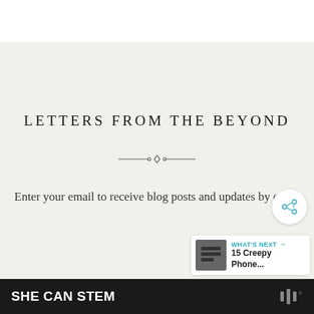LETTERS FROM THE BEYOND
[Figure (illustration): Decorative ornamental divider with centered diamond/knot motif and horizontal lines]
Enter your email to receive blog posts and updates by email
[Figure (other): Share button icon (circular white button with share/connect icon)]
[Figure (other): What's Next panel showing thumbnail and text: 15 Creepy Phone...]
SHE CAN STEM